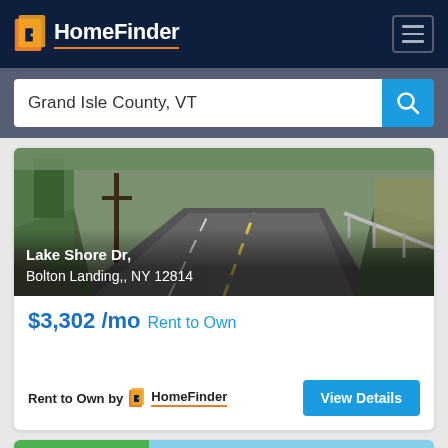HomeFinder
Grand Isle County, VT
[Figure (photo): Street view photo of Lake Shore Dr, Bolton Landing, NY 12814 showing a rural road with trees and a utility pole]
Lake Shore Dr, Bolton Landing,, NY 12814
$3,302 /mo Rent to Own
Rent to Own by HomeFinder
View Details
New